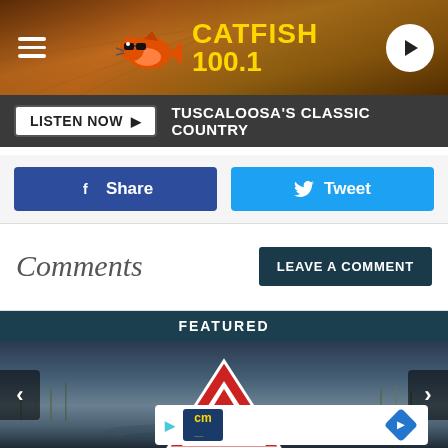[Figure (screenshot): Catfish 100.1 radio station website header with logo, hamburger menu, and play button over a wheat field background]
LISTEN NOW ▶  TUSCALOOSA'S CLASSIC COUNTRY
f Share
Tweet
Comments
LEAVE A COMMENT
FEATURED
[Figure (photo): Flooded road with a warning triangle sign reflected in water, dark moody landscape]
[Figure (screenshot): Small card overlay with CM logo play button and navigation arrow icon]